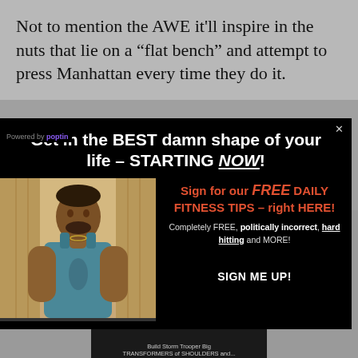Not to mention the AWE it'll inspire in the nuts that lie on a “flat bench” and attempt to press Manhattan every time they do it.
[Figure (screenshot): Modal popup with black background on a fitness website. Left side shows a photo of a muscular man in a teal tank top. Right side has promotional text: 'Get in the BEST damn shape of your life – STARTING NOW!' and 'Sign for our FREE DAILY FITNESS TIPS – right HERE!' with 'Completely FREE, politically incorrect, hard hitting and MORE!' and a 'SIGN ME UP!' button. Bottom left shows 'Powered by poptin'.]
[Figure (photo): Dark partial image at the bottom of the page showing what appears to be a dark textured object. Small caption text reads 'Build Storm Trooper Big TRANSFORMERS of SHOULDERS and...']
Build Storm Trooper Big TRANSFORMERS of SHOULDERS and...